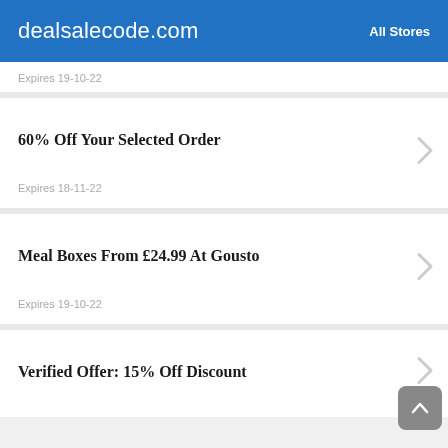dealsalecode.com   All Stores
Expires 19-10-22
60% Off Your Selected Order
Expires 18-11-22
Meal Boxes From £24.99 At Gousto
Expires 19-10-22
Verified Offer: 15% Off Discount